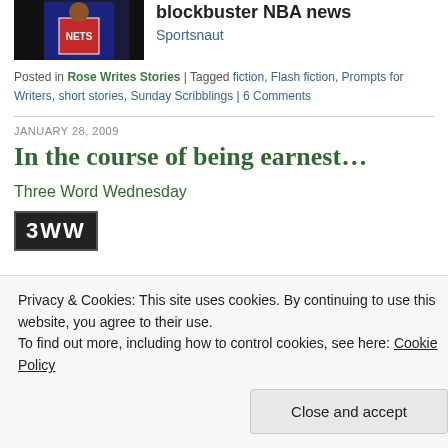[Figure (photo): Basketball player in Brooklyn Nets uniform]
blockbuster NBA news
Sportsnaut
Posted in Rose Writes Stories | Tagged fiction, Flash fiction, Prompts for Writers, short stories, Sunday Scribblings | 6 Comments
JANUARY 28, 2009
In the course of being earnest…
Three Word Wednesday
[Figure (logo): 3WW logo — black background with white bold text]
Privacy & Cookies: This site uses cookies. By continuing to use this website, you agree to their use.
To find out more, including how to control cookies, see here: Cookie Policy
Close and accept